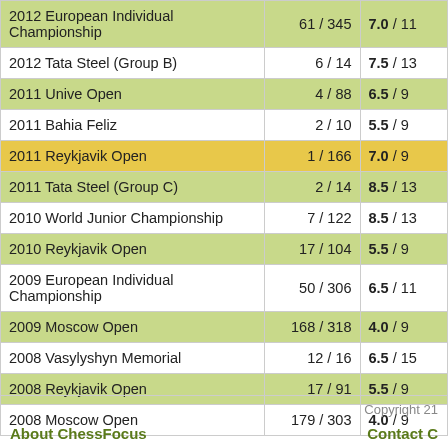| Tournament | Place | Score |
| --- | --- | --- |
| 2012 European Individual Championship | 61 / 345 | 7.0 / 11 |
| 2012 Tata Steel (Group B) | 6 / 14 | 7.5 / 13 |
| 2011 Unive Open | 4 / 88 | 6.5 / 9 |
| 2011 Bahia Feliz | 2 / 10 | 5.5 / 9 |
| 2011 Reykjavik Open | 1 / 166 | 7.0 / 9 |
| 2011 Tata Steel (Group C) | 2 / 14 | 8.5 / 13 |
| 2010 World Junior Championship | 7 / 122 | 8.5 / 13 |
| 2010 Reykjavik Open | 17 / 104 | 5.5 / 9 |
| 2009 European Individual Championship | 50 / 306 | 6.5 / 11 |
| 2009 Moscow Open | 168 / 318 | 4.0 / 9 |
| 2008 Vasylyshyn Memorial | 12 / 16 | 6.5 / 15 |
| 2008 Reykjavik Open | 17 / 91 | 5.5 / 9 |
| 2008 Moscow Open | 179 / 303 | 4.0 / 9 |
Copyright 21...   About ChessFocus   Contact C...